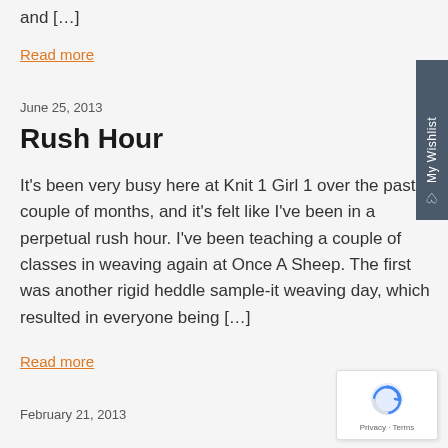and […]
Read more
June 25, 2013
Rush Hour
It's been very busy here at Knit 1 Girl 1 over the past couple of months, and it's felt like I've been in a perpetual rush hour. I've been teaching a couple of classes in weaving again at Once A Sheep. The first was another rigid heddle sample-it weaving day, which resulted in everyone being […]
Read more
February 21, 2013